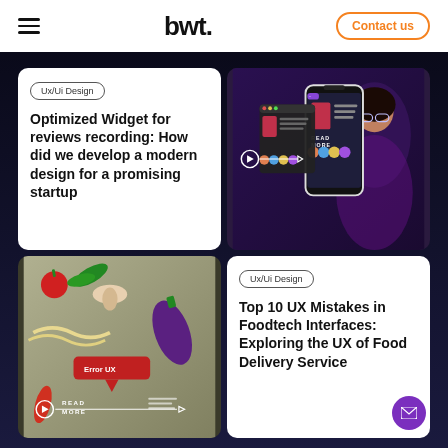bwt | Navigation | Contact us
Ux/Ui Design
Optimized Widget for reviews recording: How did we develop a modern design for a promising startup
[Figure (screenshot): Mobile phone screenshot showing a review/social app UI with user photos and text, next to a desktop browser mockup]
[Figure (screenshot): Food photography background showing vegetables with an Error UX red tooltip and a READ MORE button overlay]
Ux/Ui Design
Top 10 UX Mistakes in Foodtech Interfaces: Exploring the UX of Food Delivery Service